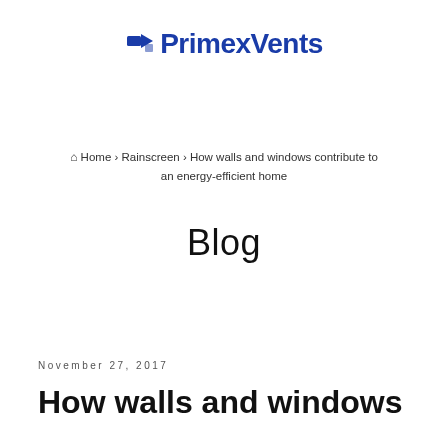[Figure (logo): PrimexVents logo with blue stylized arrow/vent icon and bold blue text 'PrimexVents']
Home › Rainscreen › How walls and windows contribute to an energy-efficient home
Blog
November 27, 2017
How walls and windows